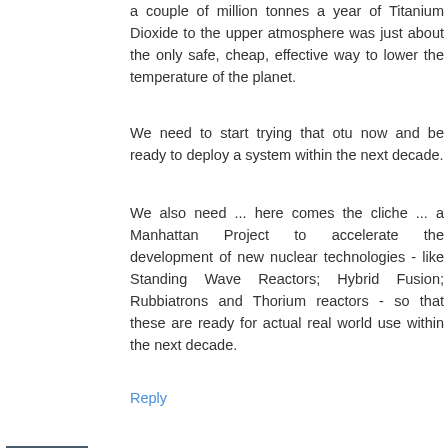a couple of million tonnes a year of Titanium Dioxide to the upper atmosphere was just about the only safe, cheap, effective way to lower the temperature of the planet.
We need to start trying that otu now and be ready to deploy a system within the next decade.
We also need ... here comes the cliche ... a Manhattan Project to accelerate the development of new nuclear technologies - like Standing Wave Reactors; Hybrid Fusion; Rubbiatrons and Thorium reactors - so that these are ready for actual real world use within the next decade.
Reply
David Brin  3:42 PM
Geoengineering? Certainly.
But start with things that
1) have no overshoot potential
2) emulate natural processes